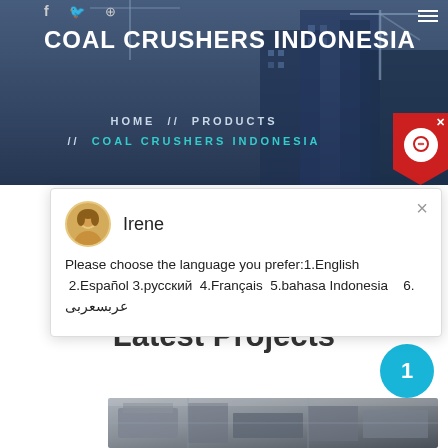[Figure (screenshot): Website header with dark blue overlay showing construction/building background with crane]
COAL CRUSHERS INDONESIA
HOME // PRODUCTS // COAL CRUSHERS INDONESIA
[Figure (screenshot): Chat support popup with agent avatar of Irene, showing language selection message]
Irene
Please choose the language you prefer:1.English  2.Español  3.русский  4.Français  5.bahasa Indonesia   6. عربسعربى
Latest Projects
[Figure (photo): Industrial machinery/crusher equipment photo at bottom of page]